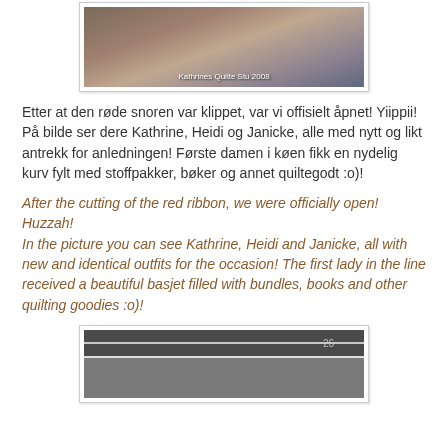[Figure (photo): Photo of people at a store opening event, with watermark text 'Kathrines Quilte Stu 2008']
Etter at den røde snoren var klippet, var vi offisielt åpnet! Yiippii!
På bilde ser dere Kathrine, Heidi og Janicke, alle med nytt og likt antrekk for anledningen! Første damen i køen fikk en nydelig kurv fylt med stoffpakker, bøker og annet quiltegodt :o)!
After the cutting of the red ribbon, we were officially open! Huzzah!
In the picture you can see Kathrine, Heidi and Janicke, all with new and identical outfits for the occasion! The first lady in the line received a beautiful basjet filled with bundles, books and other quilting goodies :o)!
[Figure (photo): Photo of a storefront with a dark awning and the number 26 visible]